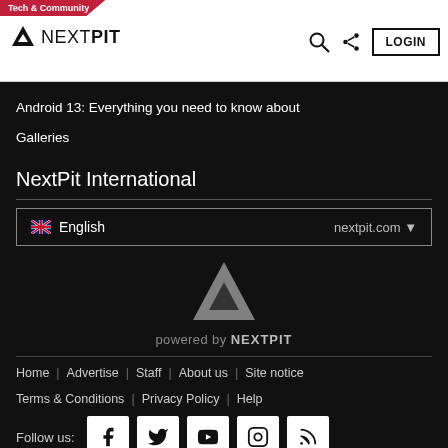Tech & Community | NEXTPIT | LOGIN
Android 13: Everything you need to know about
Galleries
NextPit International
🇬🇧 English    nextpit.com ▼
[Figure (logo): NEXTPIT triangle logo with 'powered by NEXTPIT' text]
Home | Advertise | Staff | About us | Site notice
Terms & Conditions | Privacy Policy | Help
Follow us: [Facebook] [Twitter] [YouTube] [Instagram] [RSS]